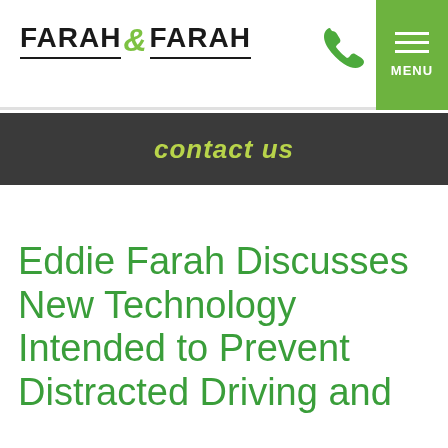FARAH & FARAH
contact us
Eddie Farah Discusses New Technology Intended to Prevent Distracted Driving and